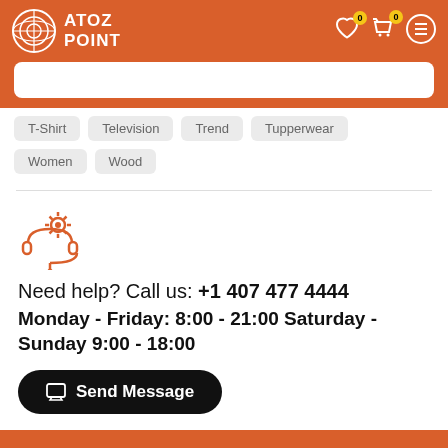ATOZ POINT
T-Shirt
Television
Trend
Tupperwear
Women
Wood
[Figure (illustration): Customer support / help icon in orange]
Need help? Call us: +1 407 477 4444
Monday - Friday: 8:00 - 21:00 Saturday - Sunday 9:00 - 18:00
Send Message
© 2022 AtoZ Point. All Rights Reserved.